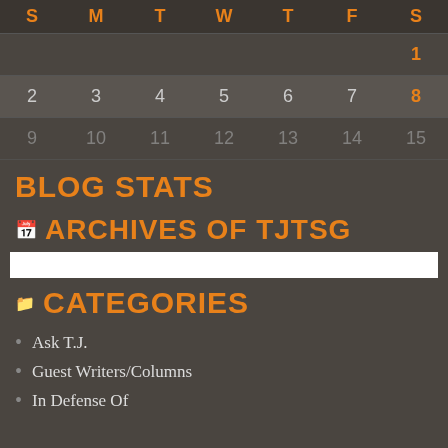| S | M | T | W | T | F | S |
| --- | --- | --- | --- | --- | --- | --- |
|  |  |  |  |  |  | 1 |
| 2 | 3 | 4 | 5 | 6 | 7 | 8 |
| 9 | 10 | 11 | 12 | 13 | 14 | 15 |
BLOG STATS
ARCHIVES OF TJTSG
CATEGORIES
Ask T.J.
Guest Writers/Columns
In Defense Of